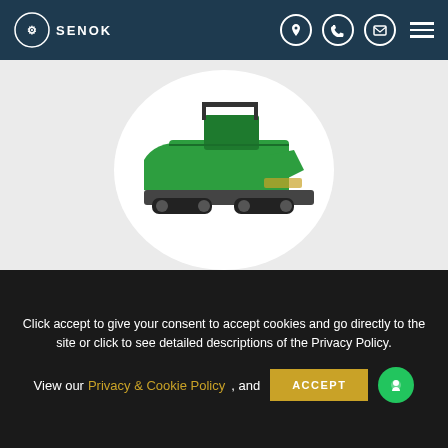SENOK
[Figure (photo): Green and black SUPER 1800-3 Universal Class Tracked Paver machine shown on a white oval background against a light grey section]
SUPER 1800-3 - Universal Class Tracked Paver
Click accept to give your consent to accept cookies and go directly to the site or click to see detailed descriptions of the Privacy Policy.
View our Privacy & Cookie Policy , and ACCEPT